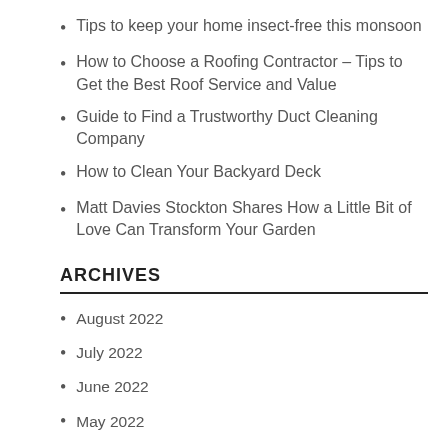Tips to keep your home insect-free this monsoon
How to Choose a Roofing Contractor – Tips to Get the Best Roof Service and Value
Guide to Find a Trustworthy Duct Cleaning Company
How to Clean Your Backyard Deck
Matt Davies Stockton Shares How a Little Bit of Love Can Transform Your Garden
ARCHIVES
August 2022
July 2022
June 2022
May 2022
April 2022
March 2022
February 2022
January 2022
December 2021